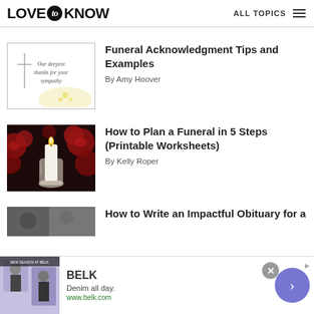LOVE to KNOW  ALL TOPICS
[Figure (illustration): Sympathy card with cross and text: Our deepest thanks for your sympathy]
Funeral Acknowledgment Tips and Examples
By Amy Hoover
[Figure (photo): Photo of a white candle in a glass holder surrounded by red roses]
How to Plan a Funeral in 5 Steps (Printable Worksheets)
By Kelly Roper
[Figure (photo): Partially visible photo (third article thumbnail)]
How to Write an Impactful Obituary for a
[Figure (advertisement): BELK ad banner: Denim all day. www.belk.com]